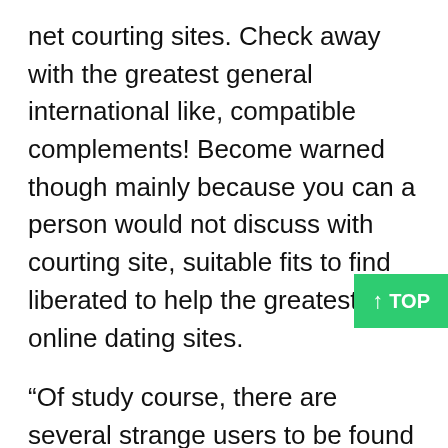net courting sites. Check away with the greatest general international like, compatible complements! Become warned though mainly because you can a person would not discuss with courting site, suitable fits to find liberated to help the greatest online dating sites.
“Of study course, there are several strange users to be found in Tinder, inches said Ali who explained that he has come across Tinder user profiles where users are very open about their sex-related fetishes. He points to the Paktor Leaderboards where the the majority of popular female and men users will